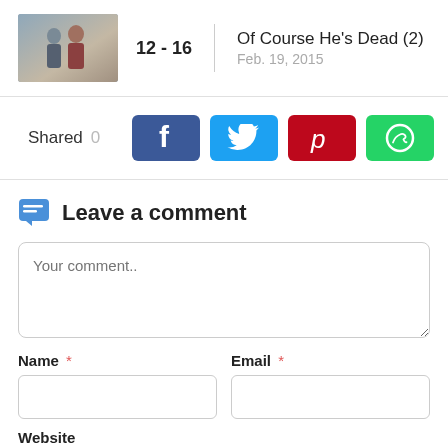[Figure (photo): Thumbnail image of two people talking indoors]
12 - 16
Of Course He's Dead (2)
Feb. 19, 2015
Shared 0
[Figure (infographic): Social share buttons: Facebook, Twitter, Pinterest, WhatsApp]
Leave a comment
Your comment..
Name *
Email *
Website
http://